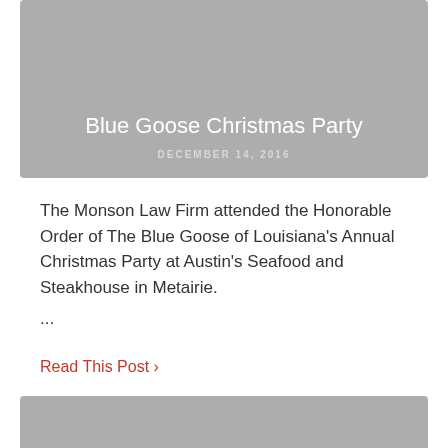[Figure (photo): Gray placeholder card image for Blue Goose Christmas Party post]
Blue Goose Christmas Party
DECEMBER 14, 2016
The Monson Law Firm attended the Honorable Order of The Blue Goose of Louisiana's Annual Christmas Party at Austin's Seafood and Steakhouse in Metairie. ...
Read This Post ›
[Figure (photo): Gray placeholder card image for Christmas Luncheon post]
Christmas Luncheon
DECEMBER 12, 2016